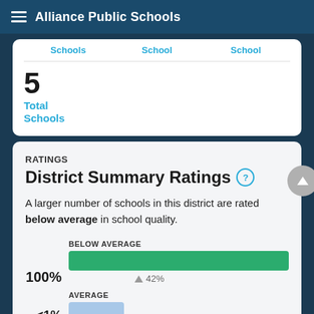Alliance Public Schools
Schools   School   School
5
Total Schools
RATINGS
District Summary Ratings
A larger number of schools in this district are rated below average in school quality.
[Figure (bar-chart): BELOW AVERAGE 100% bar (full green), 42% national average marker. AVERAGE <1% bar (light blue, partial).]